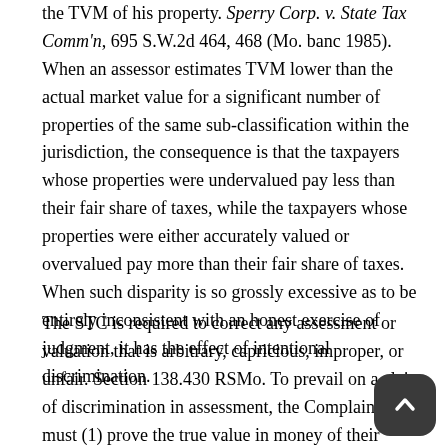the TVM of his property. Sperry Corp. v. State Tax Comm'n, 695 S.W.2d 464, 468 (Mo. banc 1985). When an assessor estimates TVM lower than the actual market value for a significant number of properties of the same sub-classification within the jurisdiction, the consequence is that the taxpayers whose properties were undervalued pay less than their fair share of taxes, while the taxpayers whose properties were either accurately valued or overvalued pay more than their fair share of taxes. When such disparity is so grossly excessive as to be entirely inconsistent with an honest exercise of judgment, it has the effect of intentional discrimination.
The STC is required to correct any assessment or valuation that is arbitrary, capricious, improper, or unfair. Section 138.430 RSMo. To prevail on a claim of discrimination in assessment, the Complainant must (1) prove the true value in money of their property on January 1, 2017; and (2) show an intentional plan of discrimination by the assessing officials resulting in an assessment of that property at a greater percentage of value than